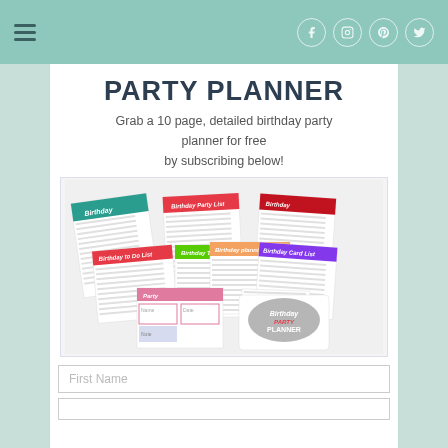PARTY PLANNER
Grab a 10 page, detailed birthday party planner for free by subscribing below!
[Figure (photo): Fan layout of 10 colorful birthday party planner pages showing various planning templates with bold watercolor-style headers in teal, red, green, orange, and purple. A gray cover reading 'Birthday Party PLANNER' is visible at the bottom right.]
First Name